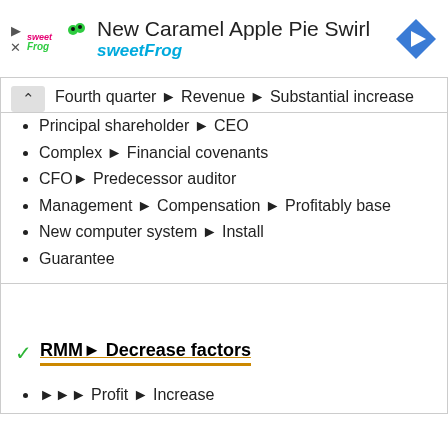[Figure (other): sweetFrog advertisement banner with logo, text 'New Caramel Apple Pie Swirl' and 'sweetFrog', and a navigation icon]
Fourth quarter ▸ Revenue ▸ Substantial increase
Principal shareholder ▸ CEO
Complex ▸ Financial covenants
CFO▸ Predecessor auditor
Management ▸ Compensation ▸ Profitably base
New computer system ▸ Install
Guarantee
RMM▸ Decrease factors
▸▸▸ Profit ▸ Increase